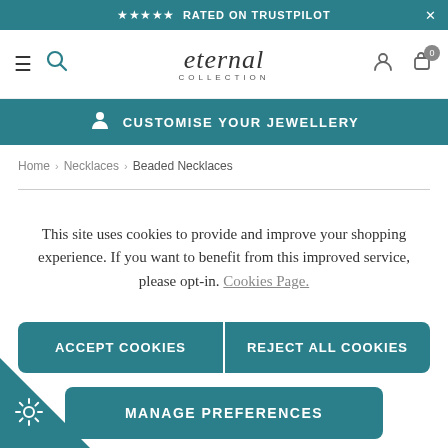★★★★★ RATED ON TRUSTPILOT
[Figure (screenshot): Eternal Collection logo with navigation icons (hamburger menu, search, user, cart)]
CUSTOMISE YOUR JEWELLERY
Home › Necklaces › Beaded Necklaces
This site uses cookies to provide and improve your shopping experience. If you want to benefit from this improved service, please opt-in. Cookies Page.
ACCEPT COOKIES
REJECT ALL COOKIES
MANAGE PREFERENCES